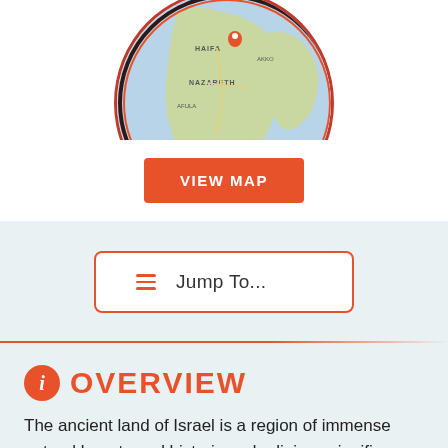[Figure (map): Circular map showing region of Israel/Nazareth area with a red location pin marker, bordered by a dark red/black circle outline]
VIEW MAP
Jump To...
OVERVIEW
The ancient land of Israel is a region of immense natural beauty and historic and religious significance. It is a region of diverse landscapes ranging from the sea